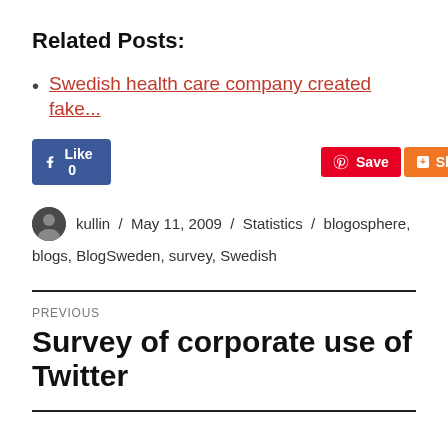Related Posts:
Swedish health care company created fake...
[Figure (screenshot): Social media buttons: Facebook Like (0), Pinterest Save, AddThis Share]
kullin / May 11, 2009 / Statistics / blogosphere, blogs, BlogSweden, survey, Swedish
PREVIOUS
Survey of corporate use of Twitter